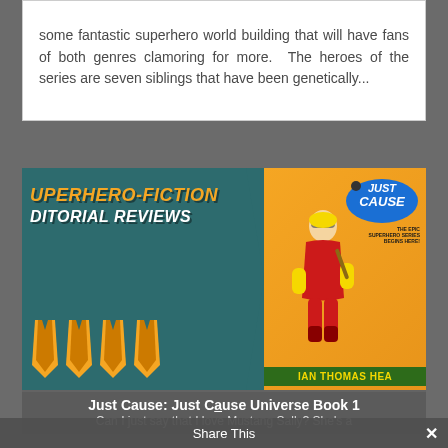some fantastic superhero world building that will have fans of both genres clamoring for more.  The heroes of the series are seven siblings that have been genetically...
[Figure (illustration): A promotional banner image for 'Superhero-Fiction Editorial Reviews' featuring the book cover of 'Just Cause: Just Cause Universe Book 1' by Ian Thomas Hea[rd]. The left side shows a dark teal background with the text 'SUPERHERO-FICTION EDITORIAL REVIEWS' in orange/white bold italic text, and four orange cape rating icons at the bottom. The right side shows the book cover with a female superhero in a red suit with yellow gloves, the 'Just Cause' logo in a blue oval, and author name 'IAN THOMAS HEA' at the bottom in yellow on green.]
Just Cause: Just Cause Universe Book 1
Can I just say that I love Mustang Sally? She's a